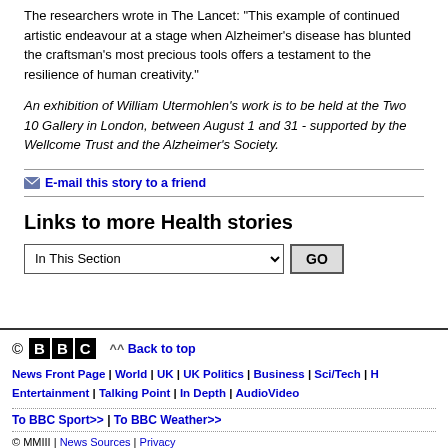The researchers wrote in The Lancet: "This example of continued artistic endeavour at a stage when Alzheimer's disease has blunted the craftsman's most precious tools offers a testament to the resilience of human creativity."
An exhibition of William Utermohlen's work is to be held at the Two 10 Gallery in London, between August 1 and 31 - supported by the Wellcome Trust and the Alzheimer's Society.
E-mail this story to a friend
Links to more Health stories
In This Section
© BBC | ^^ Back to top | News Front Page | World | UK | UK Politics | Business | Sci/Tech | Health | Entertainment | Talking Point | In Depth | AudioVideo | To BBC Sport>> | To BBC Weather>> | © MMIII | News Sources | Privacy